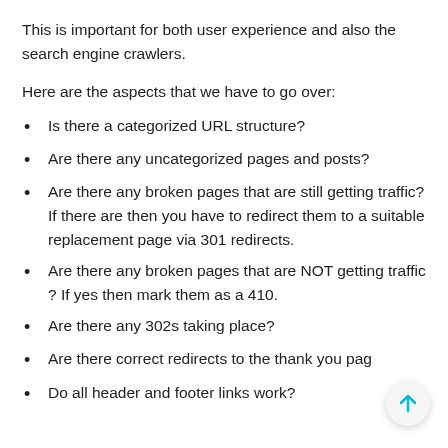This is important for both user experience and also the search engine crawlers.
Here are the aspects that we have to go over:
Is there a categorized URL structure?
Are there any uncategorized pages and posts?
Are there any broken pages that are still getting traffic? If there are then you have to redirect them to a suitable replacement page via 301 redirects.
Are there any broken pages that are NOT getting traffic ? If yes then mark them as a 410.
Are there any 302s taking place?
Are there correct redirects to the thank you pag
Do all header and footer links work?